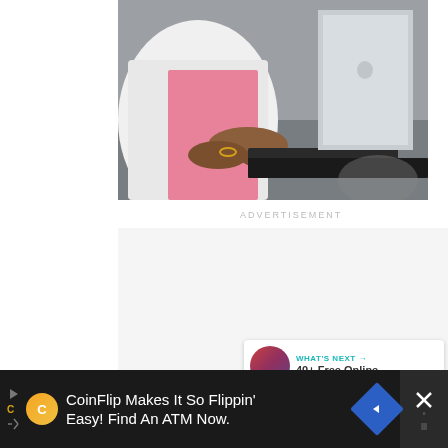[Figure (photo): Close-up photo of a person wearing a white blazer over a pink top, typing on a silver laptop placed on a black desk. The person is wearing a gold bracelet.]
ADVERTISEMENT
[Figure (other): Heart/like button (teal circle with heart icon), like count '31', and a share button (circular with share icon)]
[Figure (other): What's Next panel showing a thumbnail and text: WHAT'S NEXT → 40+ Free Online...]
[Figure (other): Bottom advertisement banner: CoinFlip logo, text 'CoinFlip Makes It So Flippin' Easy! Find An ATM Now.', blue navigation icon, and close button]